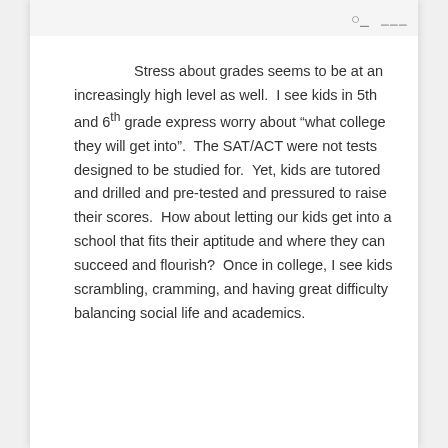Stress about grades seems to be at an increasingly high level as well.  I see kids in 5th and 6th grade express worry about “what college they will get into”.  The SAT/ACT were not tests designed to be studied for.  Yet, kids are tutored and drilled and pre-tested and pressured to raise their scores.  How about letting our kids get into a school that fits their aptitude and where they can succeed and flourish?  Once in college, I see kids scrambling, cramming, and having great difficulty balancing social life and academics.